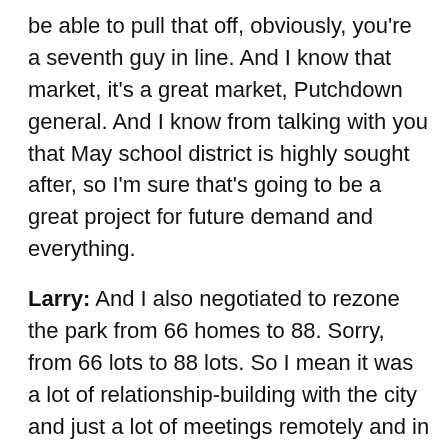be able to pull that off, obviously, you're a seventh guy in line. And I know that market, it's a great market, Putchdown general. And I know from talking with you that May school district is highly sought after, so I'm sure that's going to be a great project for future demand and everything.
Larry: And I also negotiated to rezone the park from 66 homes to 88. Sorry, from 66 lots to 88 lots. So I mean it was a lot of relationship-building with the city and just a lot of meetings remotely and in person. And they're very happy with the progress we're doing with the park, and the idea is to really fill it up. I mean we got to bring in about 60 homes in there, and we just started bringing in homes, set up a model home that was there this week and we got that setup. And now we have two homes